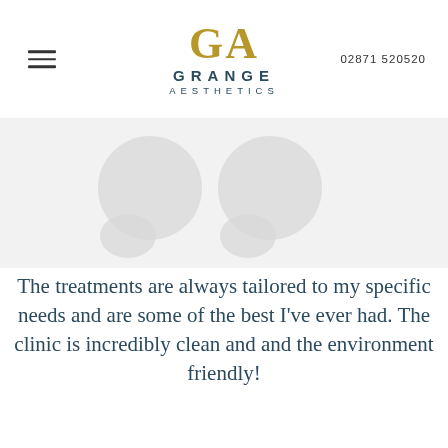[Figure (logo): Grange Aesthetics logo with golden GA monogram and dark teal GRANGE AESTHETICS text]
02871 520520
[Figure (illustration): Large light grey quotation marks decorative graphic on grey background]
The treatments are always tailored to my specific needs and are some of the best I've ever had. The clinic is incredibly clean and and the environment friendly!